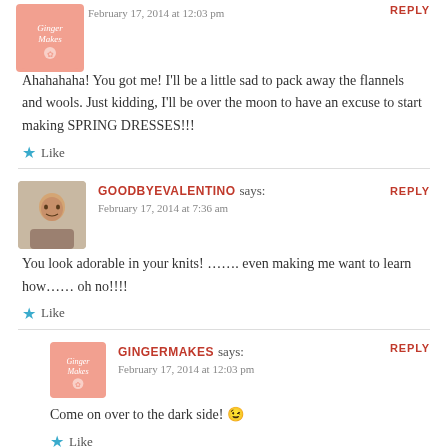[Figure (illustration): Ginger Makes avatar icon (pink/salmon colored logo)]
February 17, 2014 at 12:03 pm
REPLY
Ahahahaha! You got me! I'll be a little sad to pack away the flannels and wools. Just kidding, I'll be over the moon to have an excuse to start making SPRING DRESSES!!!
Like
[Figure (photo): Photo of a person (GoodbyeValentino commenter avatar)]
GOODBYEVALENTINO says:
February 17, 2014 at 7:36 am
REPLY
You look adorable in your knits! ……. even making me want to learn how…… oh no!!!!
Like
[Figure (illustration): Ginger Makes avatar icon (pink/salmon colored logo)]
GINGERMAKES says:
February 17, 2014 at 12:03 pm
REPLY
Come on over to the dark side! 😉
Like